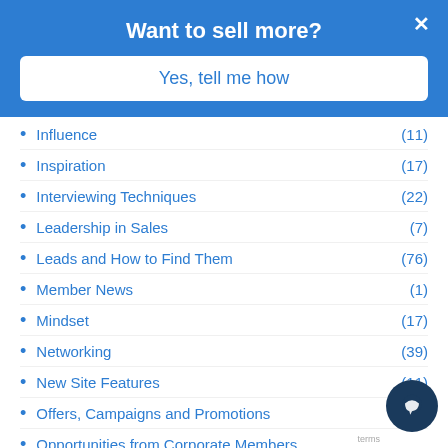Want to sell more?
Yes, tell me how
Influence (11)
Inspiration (17)
Interviewing Techniques (22)
Leadership in Sales (7)
Leads and How to Find Them (76)
Member News (1)
Mindset (17)
Networking (39)
New Site Features (11)
Offers, Campaigns and Promotions (13)
Opportunities from Corporate Members
Pipeline Management
Prospecting (151)